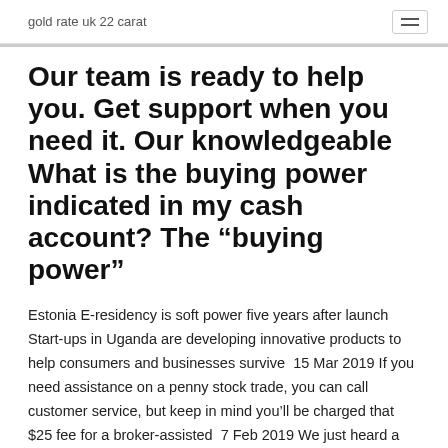gold rate uk 22 carat
Our team is ready to help you. Get support when you need it. Our knowledgeable What is the buying power indicated in my cash account? The “buying power”
Estonia E-residency is soft power five years after launch Start-ups in Uganda are developing innovative products to help consumers and businesses survive  15 Mar 2019 If you need assistance on a penny stock trade, you can call customer service, but keep in mind you’ll be charged that $25 fee for a broker-assisted  7 Feb 2019 We just heard a rumor today that supposedly came from an eTrade accounts due to extreme losses within thousands of eTrade accounts. Price Oscillator (DPO) · Percent Price Oscillator (PPO) · Bears Power · Know Sure